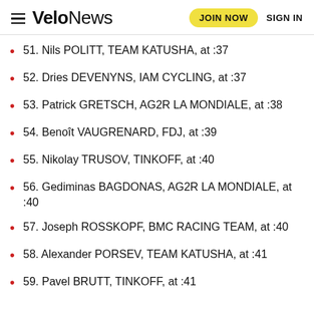VeloNews — JOIN NOW  SIGN IN
51. Nils POLITT, TEAM KATUSHA, at :37
52. Dries DEVENYNS, IAM CYCLING, at :37
53. Patrick GRETSCH, AG2R LA MONDIALE, at :38
54. Benoît VAUGRENARD, FDJ, at :39
55. Nikolay TRUSOV, TINKOFF, at :40
56. Gediminas BAGDONAS, AG2R LA MONDIALE, at :40
57. Joseph ROSSKOPF, BMC RACING TEAM, at :40
58. Alexander PORSEV, TEAM KATUSHA, at :41
59. Pavel BRUTT, TINKOFF, at :41